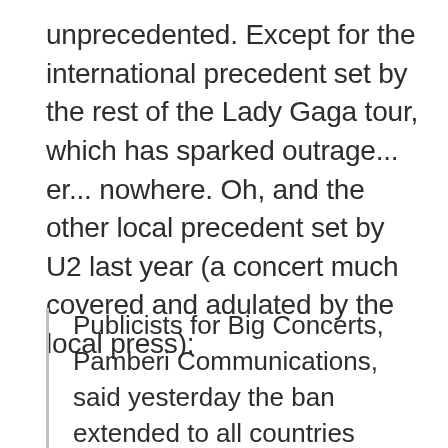unprecedented. Except for the international precedent set by the rest of the Lady Gaga tour, which has sparked outrage... er... nowhere. Oh, and the other local precedent set by U2 last year (a concert much covered and adulated by the local press):
Publicists for Big Concerts, Pamberi Communications, said yesterday the ban extended to all countries involved in Lady Gaga's global tour.